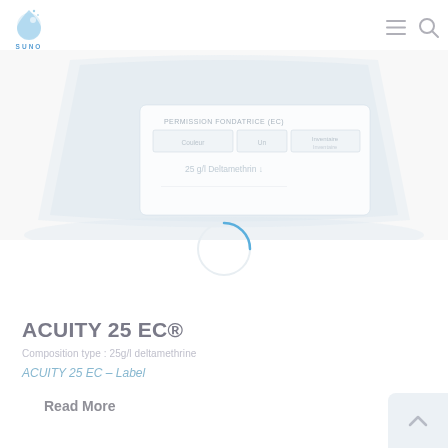[Figure (logo): SUNO logo with blue water drop icon and blue text 'SUNO' below]
[Figure (screenshot): Faded product label document showing a table with columns Couleur, Un, Inventaire and text '25 g/l Deltamethrin']
[Figure (other): Loading spinner circle, partially blue arc on white background]
ACUITY 25 EC®
Composition type : 25g/l deltamethrine
ACUITY 25 EC – Label
Read More